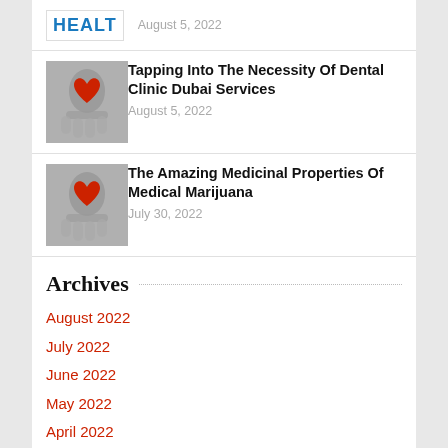[Figure (logo): Partial health logo with text 'HEALT' in blue, bordered box]
August 5, 2022
[Figure (photo): Hands holding a red heart, black and white photo]
Tapping Into The Necessity Of Dental Clinic Dubai Services
August 5, 2022
[Figure (photo): Hands holding a red heart, black and white photo]
The Amazing Medicinal Properties Of Medical Marijuana
July 30, 2022
Archives
August 2022
July 2022
June 2022
May 2022
April 2022
March 2022
February 2022
January 2022